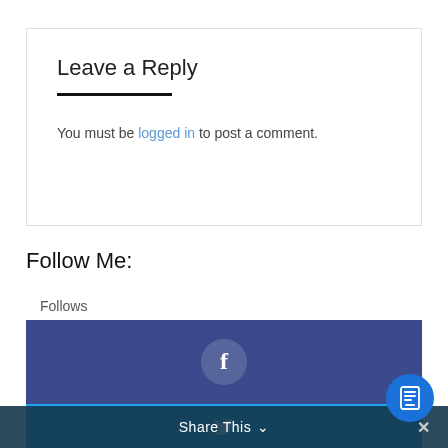Leave a Reply
You must be logged in to post a comment.
Follow Me:
Follows
[Figure (other): Facebook follow button bar with Facebook 'f' icon circle on dark blue/purple background]
[Figure (other): Twitter follow button bar with Twitter bird icon on cyan/light blue background]
Share This ∨  ×